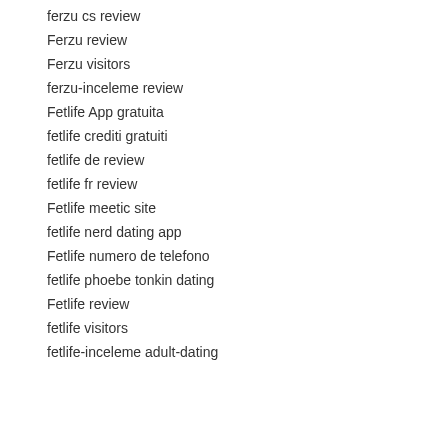ferzu cs review
Ferzu review
Ferzu visitors
ferzu-inceleme review
Fetlife App gratuita
fetlife crediti gratuiti
fetlife de review
fetlife fr review
Fetlife meetic site
fetlife nerd dating app
Fetlife numero de telefono
fetlife phoebe tonkin dating
Fetlife review
fetlife visitors
fetlife-inceleme adult-dating